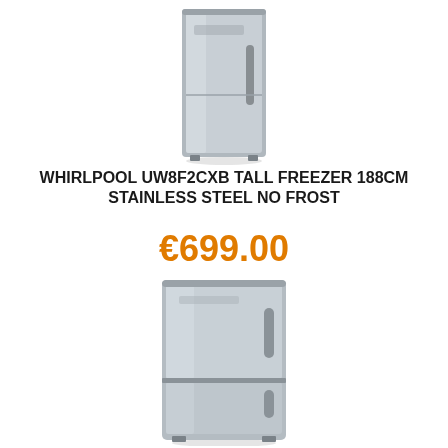[Figure (photo): Whirlpool UW8F2CXB tall freezer in stainless steel, full-height single door appliance, top portion visible]
WHIRLPOOL UW8F2CXB TALL FREEZER 188CM STAINLESS STEEL NO FROST
€699.00
[Figure (photo): Stainless steel fridge-freezer combination unit with two doors, bottom freezer drawer, partially shown from top]